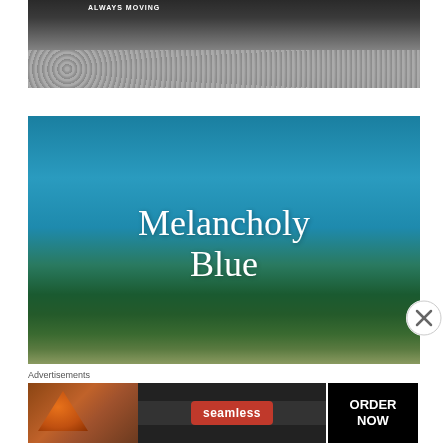[Figure (photo): Black and white photo of the bottom of a truck or vehicle with 'ALWAYS MOVING' text visible, parked on a gravel surface. Grayscale image showing vehicle undercarriage and gravel ground.]
[Figure (photo): Photo of a blue sky with green trees in the foreground and pink flowers at the bottom. White serif text overlaid reads 'Melancholy Blue'.]
Advertisements
[Figure (photo): Seamless food delivery advertisement banner showing pizza slices on the left, a red Seamless logo badge in the center, and an 'ORDER NOW' button on the right, all on a dark background.]